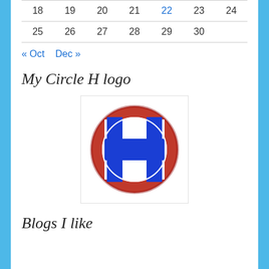| 18 | 19 | 20 | 21 | 22 | 23 | 24 |
| 25 | 26 | 27 | 28 | 29 | 30 |  |
« Oct   Dec »
My Circle H logo
[Figure (logo): Circle H logo: a red circular ring with a blue H letter inside on white background]
Blogs I like